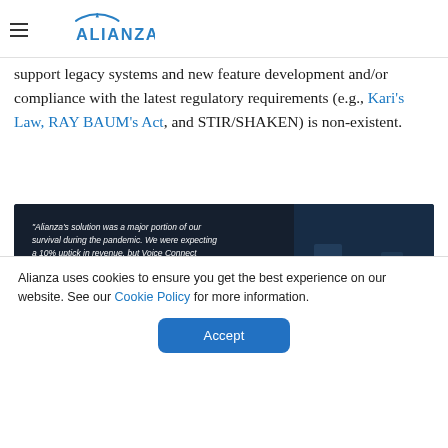Alianza (logo)
support legacy systems and new feature development and/or compliance with the latest regulatory requirements (e.g., Kari's Law, RAY BAUM's Act, and STIR/SHAKEN) is non-existent.
[Figure (photo): Dark data center background with three people walking. White quote text reads: "Alianza's solution was a major portion of our survival during the pandemic. We were expecting a 10% uptick in revenue, but Voice Connect accounted for over 50% of our sales in 2020." Attribution: — Craig Drinkhal, Director of Products and Sales Engineering, Horizon Telecom]
Alianza uses cookies to ensure you get the best experience on our website. See our Cookie Policy for more information.
Accept